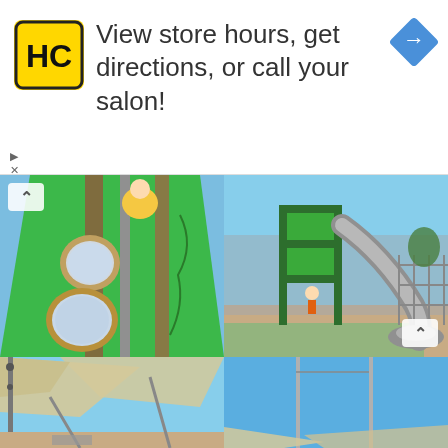[Figure (photo): Advertisement banner with HC salon logo, text 'View store hours, get directions, or call your salon!' and a blue navigation/directions diamond icon]
[Figure (photo): Close-up photo of a green playground structure with a child in yellow shirt at top, gray metal poles, and circular mirror/porthole elements]
[Figure (photo): Wide shot of a school playground with green metal play structure, gray tube slide curving to the ground, children playing, and open grassy area in background]
[Figure (photo): Partial photo of playground shade sail structure with beige/cream fabric sails against blue sky]
[Figure (photo): Partial photo of blue sky with flagpoles or light poles and partial view of shade sail structure at bottom]